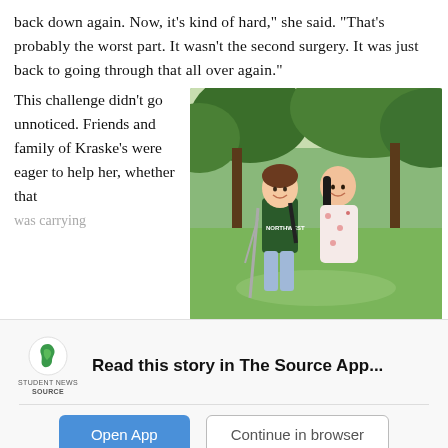back down again. Now, it's kind of hard," she said. "That's probably the worst part. It wasn't the second surgery. It was just back to going through that all over again."
This challenge didn't go unnoticed. Friends and family of Kraske's were eager to help her, whether that was carrying...
[Figure (photo): Two young women smiling outdoors, one on crutches wearing a dark Northwest t-shirt, the other in a floral dress, with trees and green lawn in background]
Read this story in The Source App...
Open App
Continue in browser